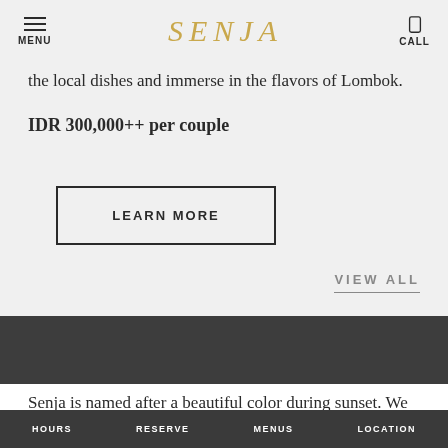MENU   SENJA   CALL
the local dishes and immerse in the flavors of Lombok.
IDR 300,000++ per couple
LEARN MORE
VIEW ALL
Senja is named after a beautiful color during sunset. We truly
HOURS   RESERVE   MENUS   LOCATION